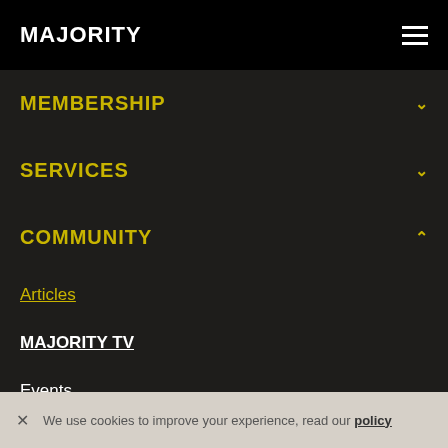MAJORITY
MEMBERSHIP
SERVICES
COMMUNITY
Articles
MAJORITY TV
Events
Discounts
Ambassador
We use cookies to improve your experience, read our policy